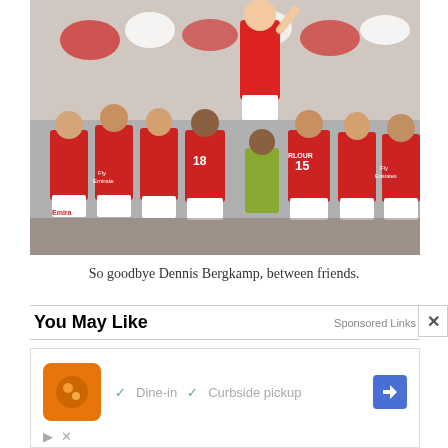[Figure (photo): Arsenal football players in red and white Fly Emirates jerseys celebrating, lifting Dennis Bergkamp on their shoulders in a stadium with fans in background.]
So goodbye Dennis Bergkamp, between friends.
You May Like   Sponsored Links  ×
[Figure (screenshot): Advertisement box showing an orange app icon, checkmarks for Dine-in and Curbside pickup options, and a blue navigation arrow icon.]